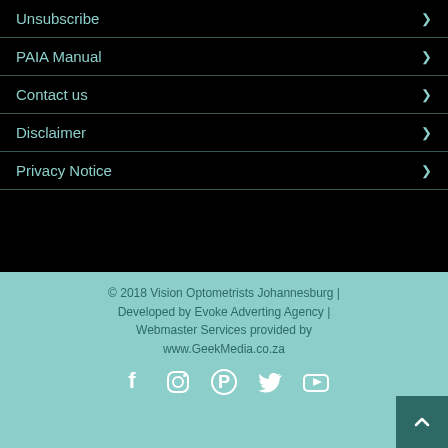Unsubscribe
PAIA Manual
Contact us
Disclaimer
Privacy Notice
© 2018 Vision Optometrists Johannesburg | Developed by Evoke Adverting Agency | Webmaster Services provided by www.GeekMedia.co.za